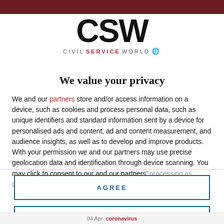CSW Civil Service World
[Figure (logo): CSW Civil Service World logo with large bold CSW text and tagline 'CIVIL SERVICE WORLD' below]
We value your privacy
We and our partners store and/or access information on a device, such as cookies and process personal data, such as unique identifiers and standard information sent by a device for personalised ads and content, ad and content measurement, and audience insights, as well as to develop and improve products. With your permission we and our partners may use precise geolocation data and identification through device scanning. You may click to consent to our and our partners' processing as described above. Alternatively you may access more
AGREE
MORE OPTIONS
04 Apr   coronavirus